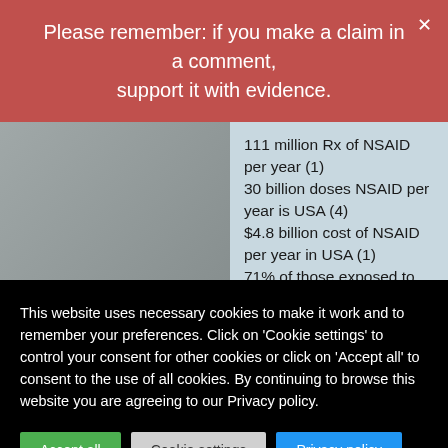Please remember: if you make a claim in a comment, support it with evidence.
111 million Rx of NSAID per year (1)
30 billion doses NSAID per year is USA (4)
$4.8 billion cost of NSAID per year in USA (1)
71% of those exposed to NSAID for >90 days had visible injury to their small intestine (5)
16 people die per DAY from...
This website uses necessary cookies to make it work and to remember your preferences. Click on 'Cookie settings' to control your consent for other cookies or click on 'Accept all' to consent to the use of all cookies. By continuing to browse this website you are agreeing to our Privacy policy.